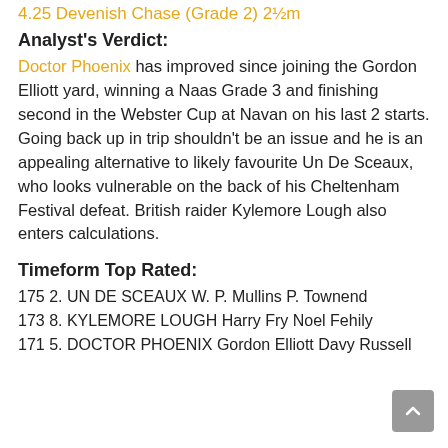4.25 Devenish Chase (Grade 2) 2½m
Analyst's Verdict:
Doctor Phoenix has improved since joining the Gordon Elliott yard, winning a Naas Grade 3 and finishing second in the Webster Cup at Navan on his last 2 starts. Going back up in trip shouldn't be an issue and he is an appealing alternative to likely favourite Un De Sceaux, who looks vulnerable on the back of his Cheltenham Festival defeat. British raider Kylemore Lough also enters calculations.
Timeform Top Rated:
175 2. UN DE SCEAUX W. P. Mullins P. Townend
173 8. KYLEMORE LOUGH Harry Fry Noel Fehily
171 5. DOCTOR PHOENIX Gordon Elliott Davy Russell